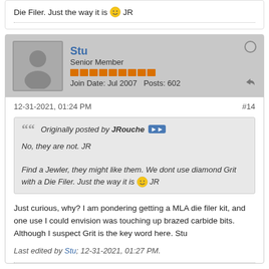Die Filer. Just the way it is 🙂 JR
[Figure (other): User profile card for Stu, Senior Member, Join Date Jul 2007, Posts 602]
12-31-2021, 01:24 PM
#14
Originally posted by JRouche
No, they are not. JR
Find a Jewler, they might like them. We dont use diamond Grit with a Die Filer. Just the way it is 🙂 JR
Just curious, why? I am pondering getting a MLA die filer kit, and one use I could envision was touching up brazed carbide bits. Although I suspect Grit is the key word here. Stu
Last edited by Stu; 12-31-2021, 01:27 PM.